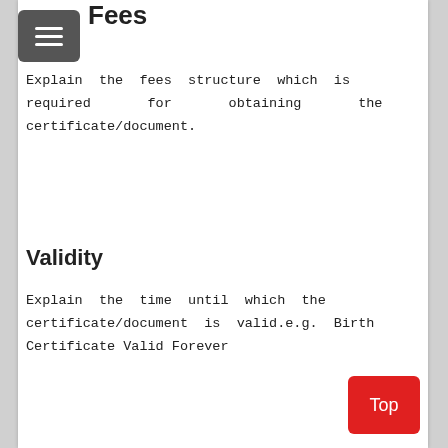Fees
Explain the fees structure which is required for obtaining the certificate/document.
Validity
Explain the time until which the certificate/document is valid.e.g. Birth Certificate Valid Forever